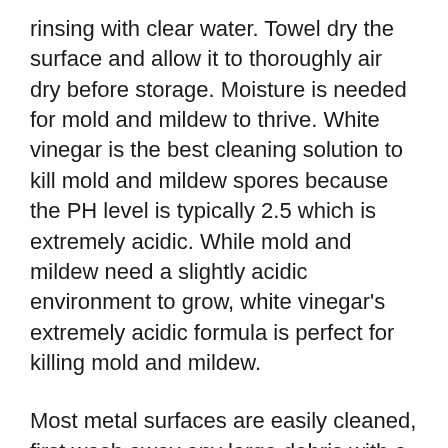rinsing with clear water. Towel dry the surface and allow it to thoroughly air dry before storage. Moisture is needed for mold and mildew to thrive. White vinegar is the best cleaning solution to kill mold and mildew spores because the PH level is typically 2.5 which is extremely acidic. While mold and mildew need a slightly acidic environment to grow, white vinegar's extremely acidic formula is perfect for killing mold and mildew.
Most metal surfaces are easily cleaned, first wash away any large debris with a hose. Use soapy water to thoroughly clean all metal surfaces. Rinse the soap from the metal and dry with a soft cloth, microfiber cloths are great for drying metal furniture. Avoid using anything abrasive as this will scratch and damage your metal furniture.  Some metals require special care see these below: